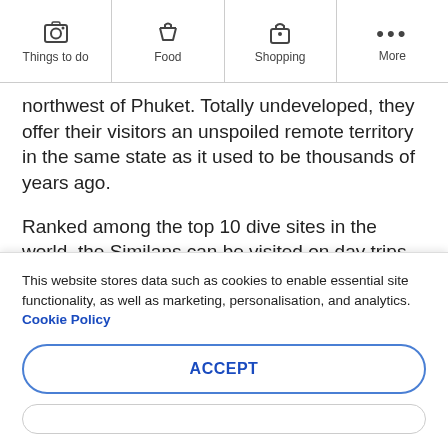Things to do | Food | Shopping | More
northwest of Phuket. Totally undeveloped, they offer their visitors an unspoiled remote territory in the same state as it used to be thousands of years ago.
Ranked among the top 10 dive sites in the world, the Similans can be visited on day trips as well as short stopovers. The rangers' camp features accommodation in tents and small bungalows that allow visitors to fully enjoy the natural beauty of the
This website stores data such as cookies to enable essential site functionality, as well as marketing, personalisation, and analytics. Cookie Policy
ACCEPT